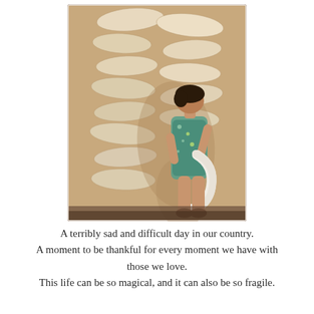[Figure (photo): A young girl with dark hair wearing a blue floral dress, standing and holding a large white curved object in front of a beige wall with oval-shaped decorative stones or sculptures arranged vertically.]
A terribly sad and difficult day in our country.
A moment to be thankful for every moment we have with those we love.
This life can be so magical, and it can also be so fragile.